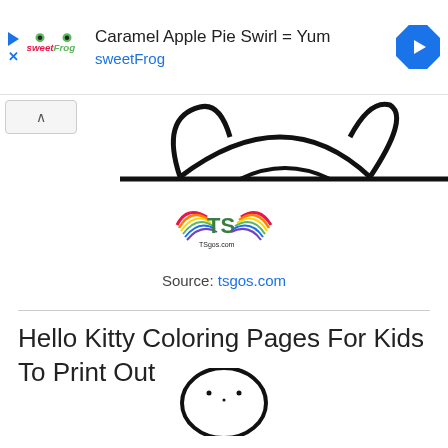[Figure (logo): SweetFrog advertisement banner with logo, title 'Caramel Apple Pie Swirl = Yum', subtitle 'sweetFrog', and a blue diamond navigation arrow icon]
[Figure (illustration): Partial Hello Kitty coloring page outline - top portion showing ears/head in black line art]
[Figure (logo): TSgos.com logo with colorful rainbow wings and green TS letters, URL tsgos.com below]
Source: tsgos.com
Hello Kitty Coloring Pages For Kids To Print Out
[Figure (illustration): Hello Kitty coloring page bottom portion showing oval head outline with small face details]